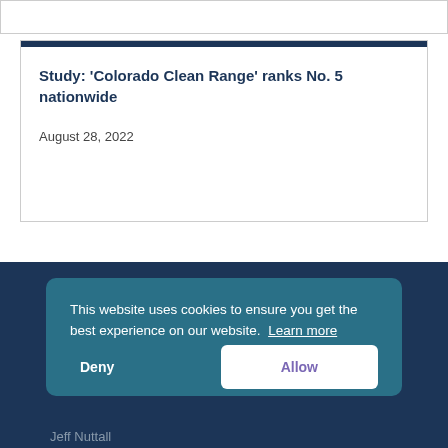Study: ‘Colorado Clean Range’ ranks No. 5 nationwide
August 28, 2022
This website uses cookies to ensure you get the best experience on our website. Learn more
Deny
Allow
Jeff Nuttall